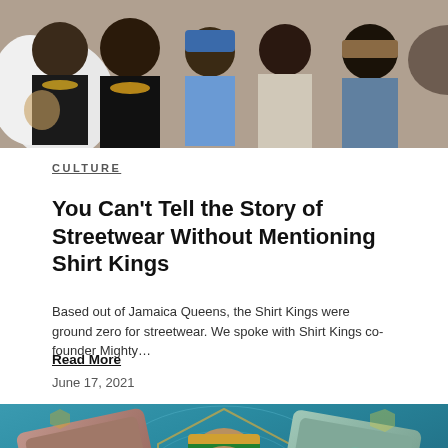[Figure (photo): Group photo of several Black men in streetwear/graphic tees, smiling for the camera against a white background]
CULTURE
You Can't Tell the Story of Streetwear Without Mentioning Shirt Kings
Based out of Jamaica Queens, the Shirt Kings were ground zero for streetwear. We spoke with Shirt Kings co-founder Mighty…
Read More
June 17, 2021
[Figure (illustration): Colorful illustrated artwork of a man with a beanie holding up two vinyl records or cards with stylized logos, against a teal/blue background with geometric shapes]